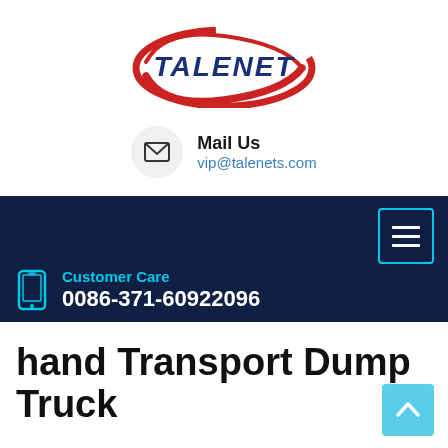[Figure (logo): Talenet company logo with red swoosh and dark blue bold text 'TALENET']
Mail Us
vip@talenets.com
[Figure (infographic): Dark navy navigation bar with hamburger menu button (cyan border), phone icon, 'Customer Care' label in cyan, and phone number '0086-371-60922096' in white]
hand Transport Dump Truck